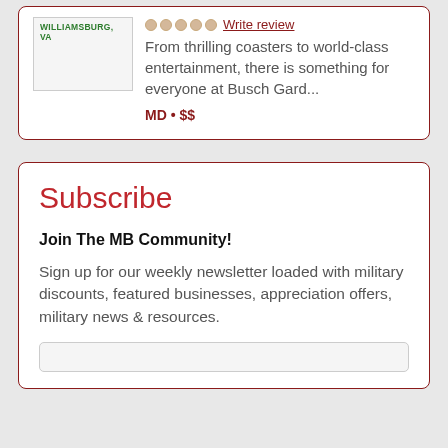[Figure (other): Thumbnail image placeholder with text WILLIAMSBURG, VA]
Write review
From thrilling coasters to world-class entertainment, there is something for everyone at Busch Gard...
MD • $$
Subscribe
Join The MB Community!
Sign up for our weekly newsletter loaded with military discounts, featured businesses, appreciation offers, military news & resources.